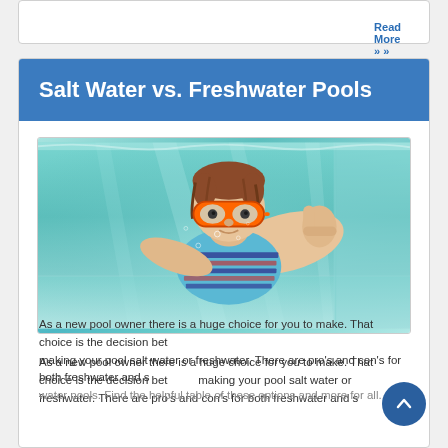Read More »
Salt Water vs. Freshwater Pools
[Figure (photo): Underwater photo of a child wearing orange diving goggles and a blue and red striped swim shirt, giving a thumbs up while submerged in a clear turquoise pool]
As a new pool owner there is a huge choice for you to make. That choice is the decision between making your pool salt water or freshwater. There are pro's and con's for both freshwater and salt water pools. Find the helpful table of these options and more for all...